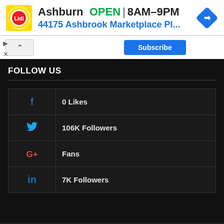[Figure (screenshot): Lidl store ad banner showing Ashburn location, OPEN 8AM-9PM, address 44175 Ashbrook Marketplace Pl..., with Lidl logo and navigation arrow icon]
[Figure (screenshot): Collapse/chevron button and blue Subscribe button bar]
FOLLOW US
| Icon | Count/Label |
| --- | --- |
| f | 0 Likes |
| Twitter bird | 106K Followers |
| G+ | Fans |
| in | 7K Followers |
© Copyright 2017 | All Rights Reserved | 3D Printing Industry